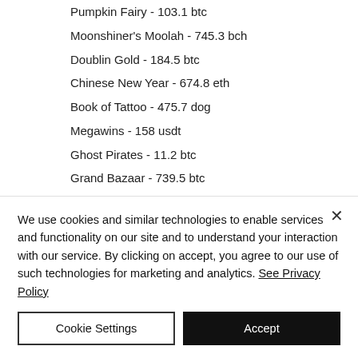Pumpkin Fairy - 103.1 btc
Moonshiner's Moolah - 745.3 bch
Doublin Gold - 184.5 btc
Chinese New Year - 674.8 eth
Book of Tattoo - 475.7 dog
Megawins - 158 usdt
Ghost Pirates - 11.2 btc
Grand Bazaar - 739.5 btc
Queen of Thrones - 376.2 eth
Best Slots Games:
We use cookies and similar technologies to enable services and functionality on our site and to understand your interaction with our service. By clicking on accept, you agree to our use of such technologies for marketing and analytics. See Privacy Policy